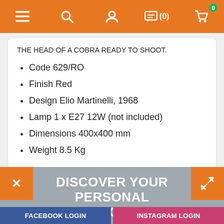Navigation bar with menu, search, account, chat (0), and cart icons
THE HEAD OF A COBRA READY TO SHOOT.
Code 629/RO
Finish Red
Design Elio Martinelli, 1968
Lamp 1 x E27 12W (not included)
Dimensions 400x400 mm
Weight 8.5 Kg
PRODUCT DETAILS
DISCOVER YOUR PERSONAL DISCOUNT
FACEBOOK LOGIN
INSTAGRAM LOGIN